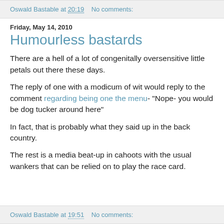Oswald Bastable at 20:19   No comments:
Friday, May 14, 2010
Humourless bastards
There are a hell of a lot of congenitally oversensitive little petals out there these days.
The reply of one with a modicum of wit would reply to the comment regarding being one the menu- "Nope- you would be dog tucker around here"
In fact, that is probably what they said up in the back country.
The rest is a media beat-up in cahoots with the usual wankers that can be relied on to play the race card.
Oswald Bastable at 19:51   No comments: